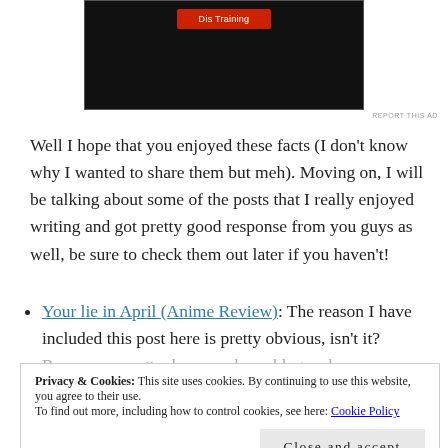[Figure (screenshot): Advertisement banner with dark background and a red button, showing partial ad content at top of page]
REPORT THIS AD
Well I hope that you enjoyed these facts (I don't know why I wanted to share them but meh). Moving on, I will be talking about some of the posts that I really enjoyed writing and got pretty good response from you guys as well, be sure to check them out later if you haven't!
Your lie in April (Anime Review): The reason I have included this post here is pretty obvious, isn't it? Because no matter how much my blog and my
Privacy & Cookies: This site uses cookies. By continuing to use this website, you agree to their use.
To find out more, including how to control cookies, see here: Cookie Policy
Close and accept
comparatively better now), it really was fun going